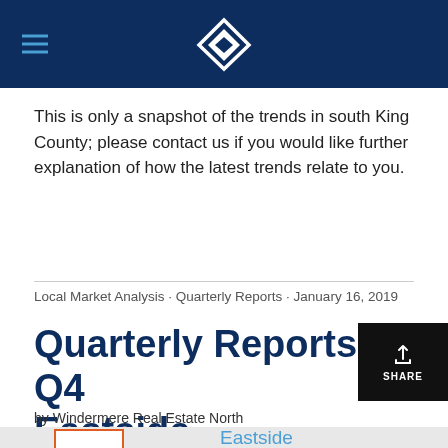Windermere Real Estate North header logo
This is only a snapshot of the trends in south King County; please contact us if you would like further explanation of how the latest trends relate to you.
Local Market Analysis · Quarterly Reports · January 16, 2019
Quarterly Reports: Q4 Eastside
by Windermere Real Estate North
[Figure (other): Q4 2018 Eastside report card preview box]